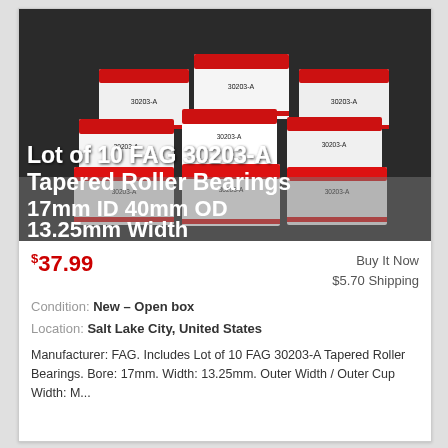[Figure (photo): Photo of stacked red and white boxes of FAG 30203-A tapered roller bearings on a dark background. Text overlaid on the image reads: 'Lot of 10 FAG 30203-A Tapered Roller Bearings 17mm ID 40mm OD 13.25mm Width']
$37.99  Buy It Now  $5.70 Shipping
Condition: New – Open box
Location: Salt Lake City, United States
Manufacturer: FAG. Includes Lot of 10 FAG 30203-A Tapered Roller Bearings. Bore: 17mm. Width: 13.25mm. Outer Width / Outer Cup Width: M...